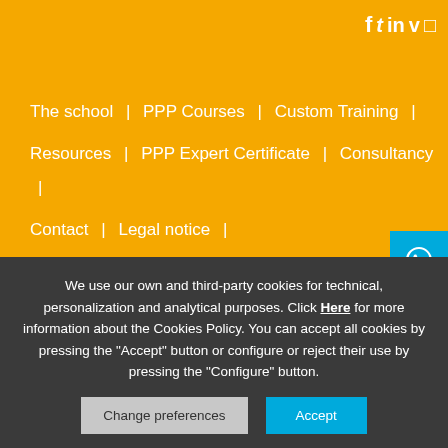[Figure (logo): Social media icons: Facebook, Twitter, LinkedIn, Vine, Instagram in white on orange background]
The school  |  PPP Courses  |  Custom Training  |
Resources  |  PPP Expert Certificate  |  Consultancy  |
Contact  |  Legal notice  |
Terms and conditions of contact  |  Cookies Policy  |
Privacy policy
We use our own and third-party cookies for technical, personalization and analytical purposes. Click Here for more information about the Cookies Policy. You can accept all cookies by pressing the "Accept" button or configure or reject their use by pressing the "Configure" button.
Change preferences
Accept